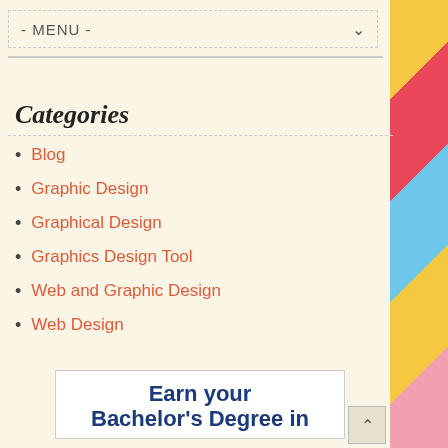- MENU -
Categories
Blog
Graphic Design
Graphical Design
Graphics Design Tool
Web and Graphic Design
Web Design
Earn your Bachelor's Degree in